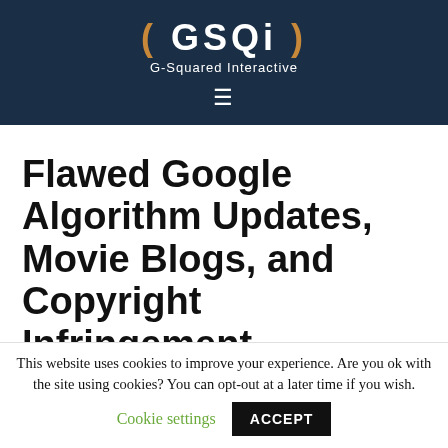( GSQi ) G-Squared Interactive
Flawed Google Algorithm Updates, Movie Blogs, and Copyright Infringement – Tracking The Panda
This website uses cookies to improve your experience. Are you ok with the site using cookies? You can opt-out at a later time if you wish. Cookie settings ACCEPT